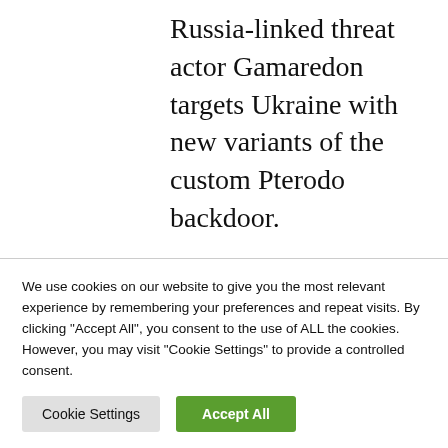Russia-linked threat actor Gamaredon targets Ukraine with new variants of the custom Pterodo backdoor.
Russia-linked Gamaredon APT group (a.k.a. Armageddon, Primitive Bear, and ACTINIUM) continues to target Ukraine and it is using new variants of the custom Pterodo backdoor (aka
We use cookies on our website to give you the most relevant experience by remembering your preferences and repeat visits. By clicking "Accept All", you consent to the use of ALL the cookies. However, you may visit "Cookie Settings" to provide a controlled consent.